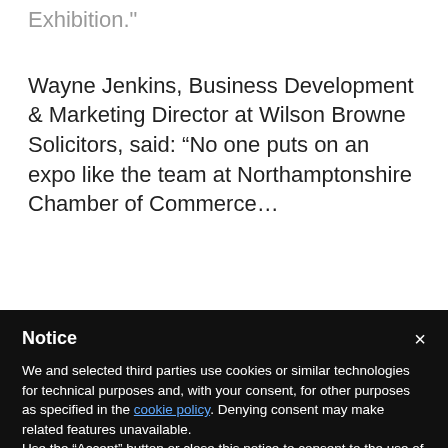Exhibition."
Wayne Jenkins, Business Development & Marketing Director at Wilson Browne Solicitors, said: “No one puts on an expo like the team at Northamptonshire Chamber of Commerce and...
Notice
We and selected third parties use cookies or similar technologies for technical purposes and, with your consent, for other purposes as specified in the cookie policy. Denying consent may make related features unavailable.
Use the “Accept” button or close this notice to consent to the use of such technologies.
Accept
Learn more and customize